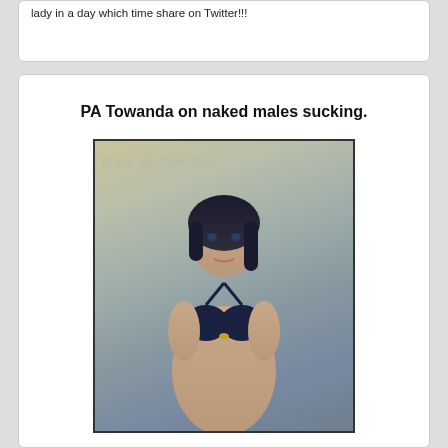lady in a day which time share on Twitter!!!
PA Towanda on naked males sucking.
[Figure (photo): Woman in a dark bikini top, dark hair, posed near water, with watermark 'trace-my-food.com']